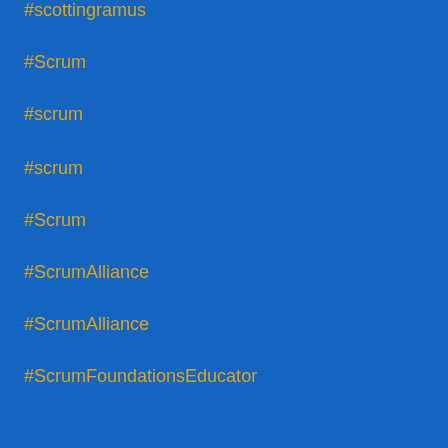#scottingramus
#Scrum
#scrum
#scrum
#Scrum
#ScrumAlliance
#ScrumAlliance
#ScrumFoundationsEducator
#scrummaster
#ScrumMaster